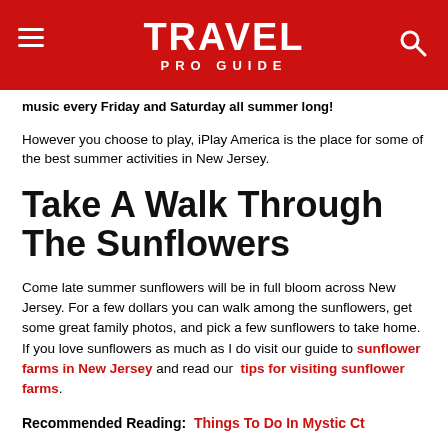TRAVEL PRO GUIDE
music every Friday and Saturday all summer long!
However you choose to play, iPlay America is the place for some of the best summer activities in New Jersey.
Take A Walk Through The Sunflowers
Come late summer sunflowers will be in full bloom across New Jersey. For a few dollars you can walk among the sunflowers, get some great family photos, and pick a few sunflowers to take home. If you love sunflowers as much as I do visit our guide to sunflower farms in New Jersey and read our tips for visiting sunflower farms.
Recommended Reading: Things To Do In Mystic Ct